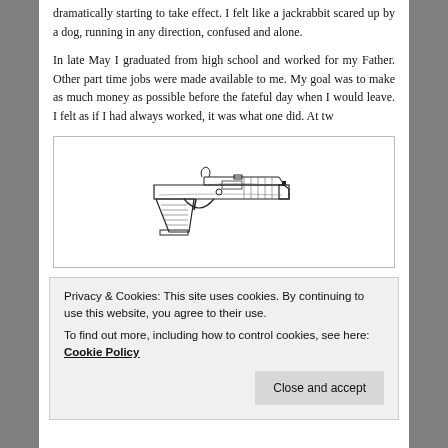dramatically starting to take effect. I felt like a jackrabbit scared up by a dog, running in any direction, confused and alone.
In late May I graduated from high school and worked for my Father. Other part time jobs were made available to me. My goal was to make as much money as possible before the fateful day when I would leave. I felt as if I had always worked, it was what one did. At tw
[Figure (illustration): Black and white pen/ink illustration of a handgun (pistol) viewed from the side]
blades. By my thirteenth birthday I had a job sweeping up
Privacy & Cookies: This site uses cookies. By continuing to use this website, you agree to their use.
To find out more, including how to control cookies, see here: Cookie Policy